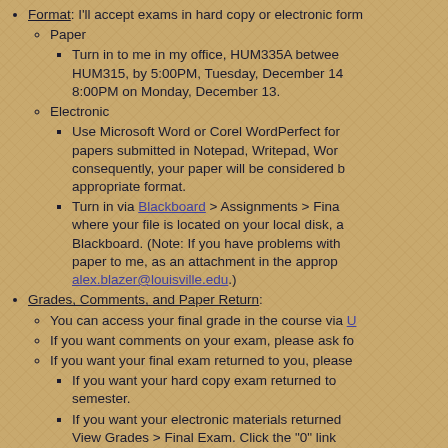Format: I'll accept exams in hard copy or electronic form.
Paper
Turn in to me in my office, HUM335A between HUM315, by 5:00PM, Tuesday, December 14 8:00PM on Monday, December 13.
Electronic
Use Microsoft Word or Corel WordPerfect for papers submitted in Notepad, Writepad, Wor consequently, your paper will be considered b appropriate format.
Turn in via Blackboard > Assignments > Fina where your file is located on your local disk, a Blackboard. (Note: If you have problems with paper to me, as an attachment in the approp alex.blazer@louisville.edu.)
Grades, Comments, and Paper Return:
You can access your final grade in the course via U
If you want comments on your exam, please ask fo
If you want your final exam returned to you, please
If you want your hard copy exam returned to semester.
If you want your electronic materials returned View Grades > Final Exam. Click the "0" link paper is the attached file in section 3 Feedba